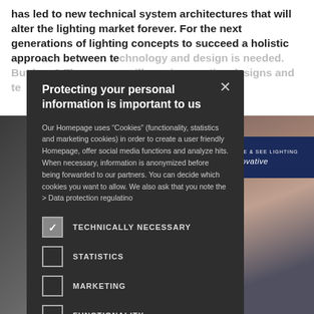has led to new technical system architectures that will alter the lighting market forever. For the next generations of lighting concepts to succeed a holistic approach between te... ...w? The a... ...quire c... ...esigns and te...
[Figure (photo): Background photo of a trade show or conference with people looking at displays and a blue sign reading 'innovative']
Protecting your personal information is important to us
Our Homepage uses "Cookies" (functionality, statistics and marketing cookies) in order to create a user friendly Homepage, offer social media functions and analyze hits. When necessary, information is anonymized before being forwarded to our partners. You can decide which cookies you want to allow. We also ask that you note the > Data protection regulatino
TECHNICALLY NECESSARY (checked)
STATISTICS
MARKETING
FUNCTIONALITY